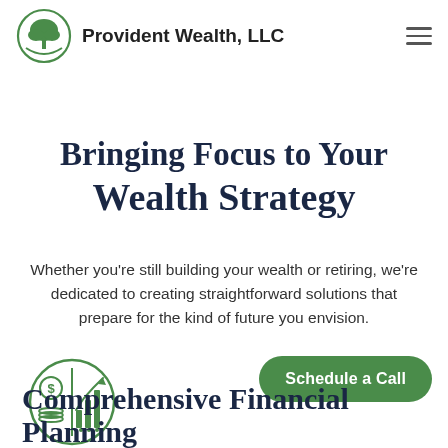Provident Wealth, LLC
Bringing Focus to Your Wealth Strategy
Whether you're still building your wealth or retiring, we're dedicated to creating straightforward solutions that prepare for the kind of future you envision.
[Figure (illustration): Circular icon showing a dollar sign coin stack on the left and a bar chart with an upward arrow on the right, rendered in green outline style]
Schedule a Call
Comprehensive Financial Planning